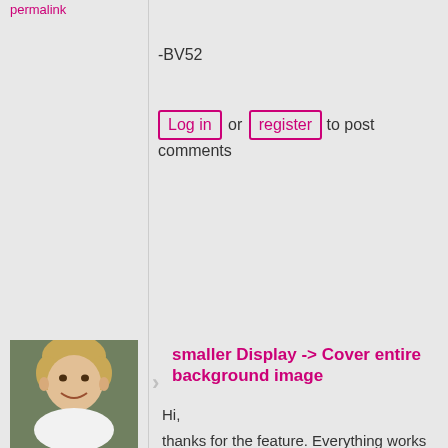permalink
-BV52
Log in or register to post comments
[Figure (photo): Profile photo of user BiLachner, a woman with short blonde hair smiling]
BiLachner
Wed, 05/23/2018 - 09:28
permalink
smaller Display -> Cover entire background image
Hi,
thanks for the feature. Everything works fine, but when I make the iframe in moodle smaller the text for